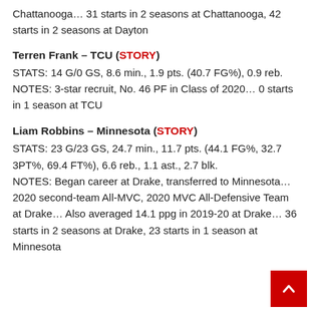Chattanooga… 31 starts in 2 seasons at Chattanooga, 42 starts in 2 seasons at Dayton
Terren Frank – TCU (STORY)
STATS: 14 G/0 GS, 8.6 min., 1.9 pts. (40.7 FG%), 0.9 reb.
NOTES: 3-star recruit, No. 46 PF in Class of 2020… 0 starts in 1 season at TCU
Liam Robbins – Minnesota (STORY)
STATS: 23 G/23 GS, 24.7 min., 11.7 pts. (44.1 FG%, 32.7 3PT%, 69.4 FT%), 6.6 reb., 1.1 ast., 2.7 blk.
NOTES: Began career at Drake, transferred to Minnesota… 2020 second-team All-MVC, 2020 MVC All-Defensive Team at Drake… Also averaged 14.1 ppg in 2019-20 at Drake… 36 starts in 2 seasons at Drake, 23 starts in 1 season at Minnesota